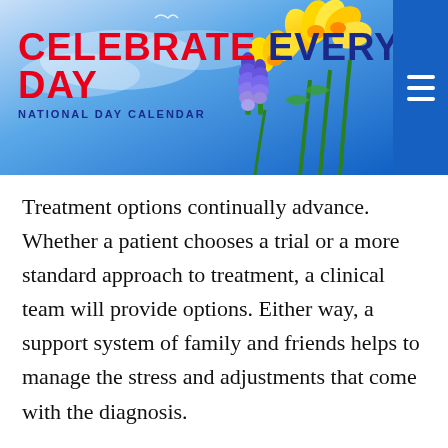CELEBRATE EVERY DAY — NATIONAL DAY CALENDAR
Treatment options continually advance. Whether a patient chooses a trial or a more standard approach to treatment, a clinical team will provide options. Either way, a support system of family and friends helps to manage the stress and adjustments that come with the diagnosis.
The day also gives a voice to those who live with metastatic breast cancer. It encourages the world to learn more about the disease, how it